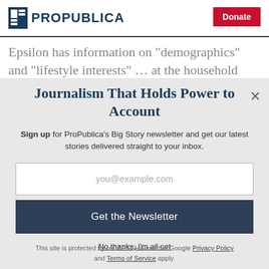[Figure (logo): ProPublica logo with icon and wordmark, plus red Donate button]
Epsilon has information on “demographics” and “lifestyle interests” … at the household level. It also
Journalism That Holds Power to Account
Sign up for ProPublica’s Big Story newsletter and get our latest stories delivered straight to your inbox.
you@example.com
Get the Newsletter
No thanks, I’m all set
This site is protected by reCAPTCHA and the Google Privacy Policy and Terms of Service apply.